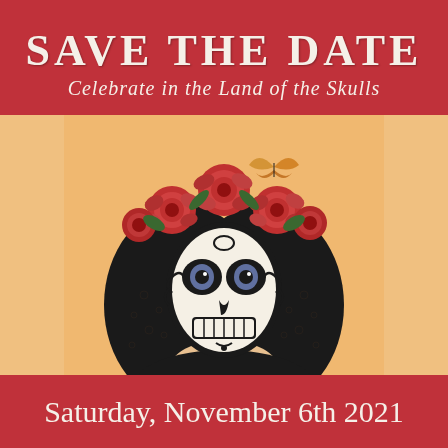SAVE THE DATE
Celebrate in the Land of the Skulls
[Figure (illustration): Illustration of a woman dressed as La Catrina (Day of the Dead) with sugar skull face paint, a black veil, and a crown of red roses with a butterfly, on a warm orange/peach background.]
Saturday, November 6th 2021